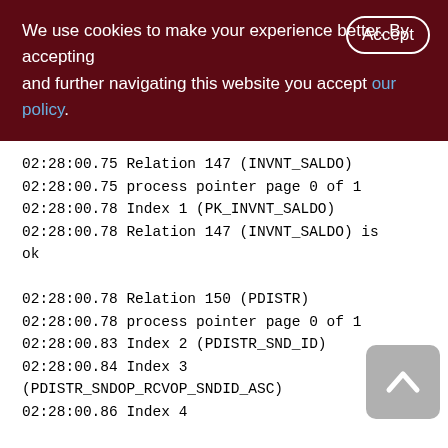We use cookies to make your experience better. By accepting and further navigating this website you accept our policy.
02:28:00.75 Relation 147 (INVNT_SALDO)
02:28:00.75 process pointer page 0 of 1
02:28:00.78 Index 1 (PK_INVNT_SALDO)
02:28:00.78 Relation 147 (INVNT_SALDO) is ok

02:28:00.78 Relation 150 (PDISTR)
02:28:00.78 process pointer page 0 of 1
02:28:00.83 Index 2 (PDISTR_SND_ID)
02:28:00.84 Index 3 (PDISTR_SNDOP_RCVOP_SNDID_ASC)
02:28:00.86 Index 4